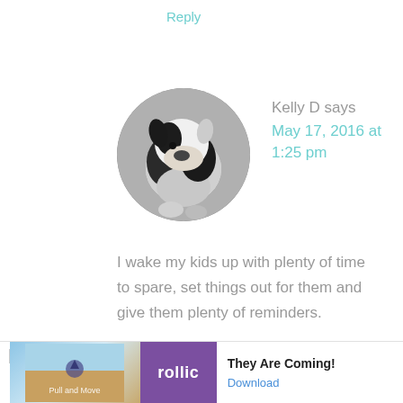Reply
[Figure (photo): Circular avatar photo of a dog (black and white coloring, head tilted down)]
Kelly D says
May 17, 2016 at 1:25 pm
I wake my kids up with plenty of time to spare, set things out for them and give them plenty of reminders.
Reply
Ad  They Are Coming!  Download